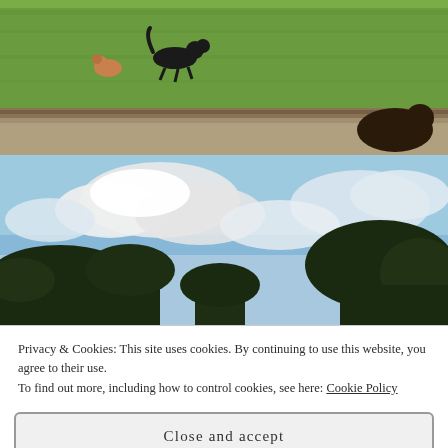[Figure (photo): Two dogs playing on a green grassy field with a dirt path in the foreground. A large black dog and a smaller brown dog are visible. A third dark dog is partially visible at the bottom right.]
[Figure (photo): Outdoor scene with a blue sky filled with white clouds. Dark green trees are visible along the bottom right horizon.]
Privacy & Cookies: This site uses cookies. By continuing to use this website, you agree to their use.
To find out more, including how to control cookies, see here: Cookie Policy
Close and accept
[Figure (photo): Bottom portion of another outdoor photo, partially visible — appears to show a path or ground.]